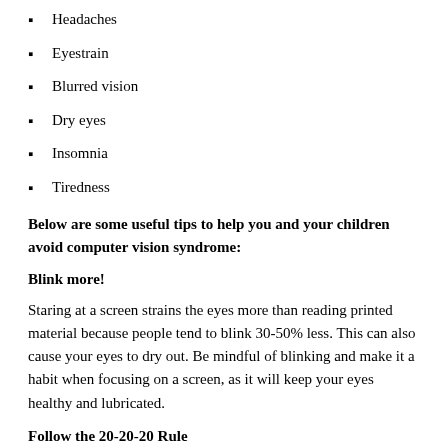Headaches
Eyestrain
Blurred vision
Dry eyes
Insomnia
Tiredness
Below are some useful tips to help you and your children avoid computer vision syndrome:
Blink more!
Staring at a screen strains the eyes more than reading printed material because people tend to blink 30-50% less. This can also cause your eyes to dry out. Be mindful of blinking and make it a habit when focusing on a screen, as it will keep your eyes healthy and lubricated.
Follow the 20-20-20 Rule
Give your eyes a break every 20 minutes by looking at an object located 20 feet away for 20 seconds. Doing so will allow your eyes to relax and